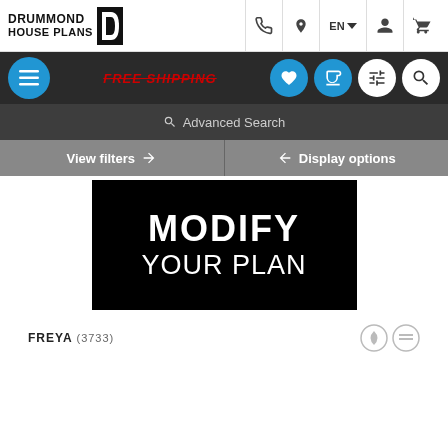[Figure (screenshot): Drummond House Plans website header with logo, navigation icons (phone, location, EN language selector, account, cart)]
DRUMMOND HOUSE PLANS
[Figure (screenshot): Secondary navigation bar with hamburger menu, FREE SHIPPING text, heart icon, mug icon, settings icon, search icon]
FREE SHIPPING
Advanced Search
View filters
Display options
[Figure (screenshot): Banner image with black background showing text MODIFY YOUR PLAN]
MODIFY YOUR PLAN
FREYA (3733)